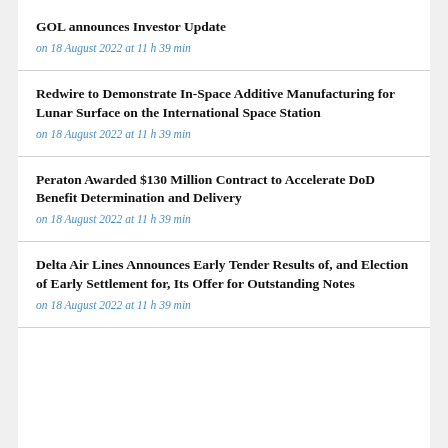GOL announces Investor Update
on 18 August 2022 at 11 h 39 min
Redwire to Demonstrate In-Space Additive Manufacturing for Lunar Surface on the International Space Station
on 18 August 2022 at 11 h 39 min
Peraton Awarded $130 Million Contract to Accelerate DoD Benefit Determination and Delivery
on 18 August 2022 at 11 h 39 min
Delta Air Lines Announces Early Tender Results of, and Election of Early Settlement for, Its Offer for Outstanding Notes
on 18 August 2022 at 11 h 39 min